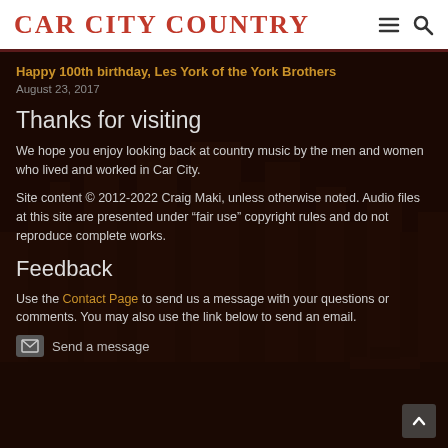CAR CITY COUNTRY
Happy 100th birthday, Les York of the York Brothers
August 23, 2017
Thanks for visiting
We hope you enjoy looking back at country music by the men and women who lived and worked in Car City.
Site content © 2012-2022 Craig Maki, unless otherwise noted. Audio files at this site are presented under “fair use” copyright rules and do not reproduce complete works.
Feedback
Use the Contact Page to send us a message with your questions or comments. You may also use the link below to send an email.
Send a message